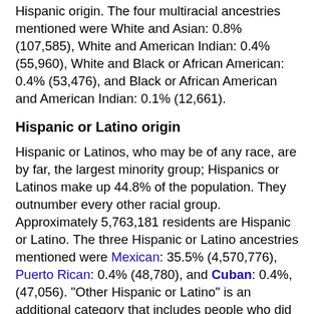Hispanic origin. The four multiracial ancestries mentioned were White and Asian: 0.8% (107,585), White and American Indian: 0.4% (55,960), White and Black or African American: 0.4% (53,476), and Black or African American and American Indian: 0.1% (12,661).
Hispanic or Latino origin
Hispanic or Latinos, who may be of any race, are by far, the largest minority group; Hispanics or Latinos make up 44.8% of the population. They outnumber every other racial group. Approximately 5,763,181 residents are Hispanic or Latino. The three Hispanic or Latino ancestries mentioned were Mexican: 35.5% (4,570,776), Puerto Rican: 0.4% (48,780), and Cuban: 0.4%, (47,056). "Other Hispanic or Latino" is an additional category that includes people who did not identify themselves as any of the groups above. This group include people